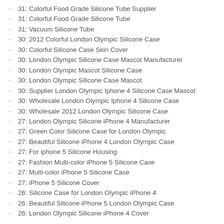31: Colorful Food Grade Silicone Tube Supplier
31: Colorful Food Grade Silicone Tube
31: Vacuum Silicone Tube
30: 2012 Colorful London Olympic Silicone Case
30: Colorful Silicone Case Skin Cover
30: London Olympic Silicone Case Mascot Manufacturer
30: London Olympic Mascot Silicone Case
30: London Olympic Silicone Case Mascot
30: Supplier London Olympic Iphone 4 Silicone Case Mascot
30: Wholesale London Olympic Iphone 4 Silicone Case
30: Wholesale 2012 London Olympic Silicone Case
27: London Olympic Silicone iPhone 4 Manufacturer
27: Green Color Silicone Case for London Olympic
27: Beautiful Silicone iPhone 4 London Olympic Case
27: For iphone 5 Silicone Housing
27: Fashion Multi-color iPhone 5 Silicone Case
27: Multi-color iPhone 5 Silicone Case
27: iPhone 5 Silicone Cover
26: Silicone Case for London Olympic iPhone 4
26: Beautiful Silicone iPhone 5 London Olympic Case
26: London Olympic Silicone iPhone 4 Cover